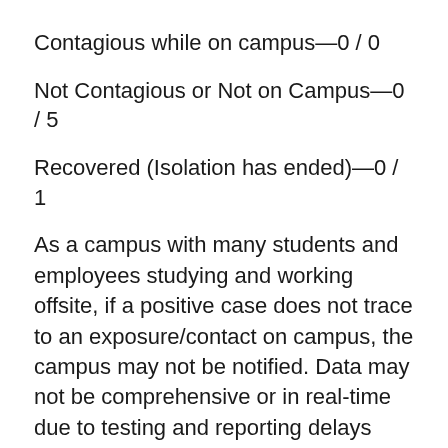Contagious while on campus—0 / 0
Not Contagious or Not on Campus—0 / 5
Recovered (Isolation has ended)—0 / 1
As a campus with many students and employees studying and working offsite, if a positive case does not trace to an exposure/contact on campus, the campus may not be notified. Data may not be comprehensive or in real-time due to testing and reporting delays and are subject to change. Individuals, particularly those that have been at one of our locations, are also encouraged to report any COVID-19 health updates through our reporting form. As part of the Minnesota State system and in